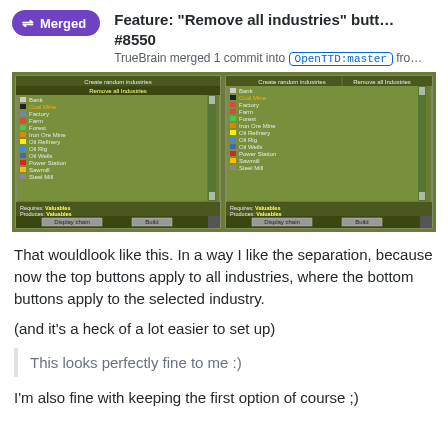Feature: "Remove all industries" butt... #8550 — TrueBrain merged 1 commit into OpenTTD:master fro...
[Figure (screenshot): Two side-by-side screenshots of an OpenTTD game UI showing industry list panels. Left panel has 'Create random industries' and 'Remove all industries' buttons at top with a list of industries. Right panel shows similar layout with 'Create random industries' and 'Remove all industries' tabs at top.]
That wouldlook like this. In a way I like the separation, because now the top buttons apply to all industries, where the bottom buttons apply to the selected industry.
(and it's a heck of a lot easier to set up)
This looks perfectly fine to me :)
I'm also fine with keeping the first option of course ;)